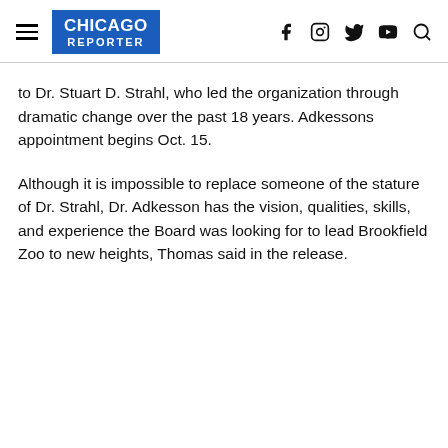CHICAGO REPORTER
to Dr. Stuart D. Strahl, who led the organization through dramatic change over the past 18 years. Adkessons appointment begins Oct. 15.
Although it is impossible to replace someone of the stature of Dr. Strahl, Dr. Adkesson has the vision, qualities, skills, and experience the Board was looking for to lead Brookfield Zoo to new heights, Thomas said in the release.